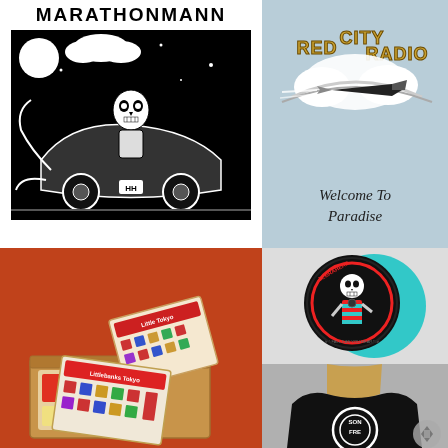[Figure (illustration): MarathonMann band logo text and black-and-white comic-style illustration of a skeleton robot riding a car through a night scene with moon and clouds]
[Figure (illustration): Red City Radio album art on blue-gray background. Stylized bubble text 'RED CITY RADIO' with illustrated airplane/rocket and text 'Welcome To Paradise' in handwritten style below]
[Figure (photo): Little Tokyo sticker pack on orange-red background showing illustrated sticker sheets with Japanese-themed characters and designs spread across pizza-style cardboard box]
[Figure (photo): Zebrahead vinyl record with black label featuring skull skeleton in striped shirt design and teal/cyan colored record]
[Figure (photo): Back view of person wearing black t-shirt with circular logo design, partial text visible including 'SON' and 'FRE']